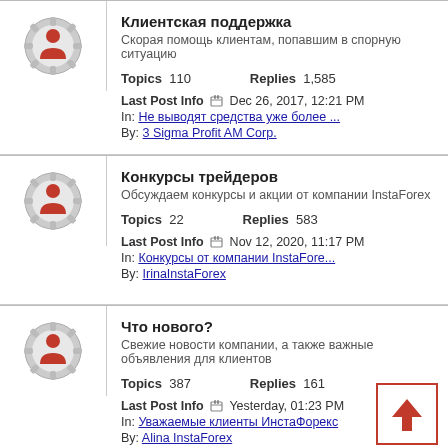Клиентская поддержка — Скорая помощь клиентам, попавшим в спорную ситуацию. Topics 110 Replies 1,585. Last Post Info Dec 26, 2017, 12:21 PM. In: Не выводят средства уже более ... By: 3 Sigma Profit AM Corp.
Конкурсы трейдеров — Обсуждаем конкурсы и акции от компании InstaForex. Topics 22 Replies 583. Last Post Info Nov 12, 2020, 11:17 PM. In: Конкурсы от компании InstaFore... By: IrinaInstaForex
Что нового? — Свежие новости компании, а также важные объявления для клиентов. Topics 387 Replies 161. Last Post Info Yesterday, 01:23 PM. In: Уважаемые клиенты ИнстаФорекс By: Alina InstaForex